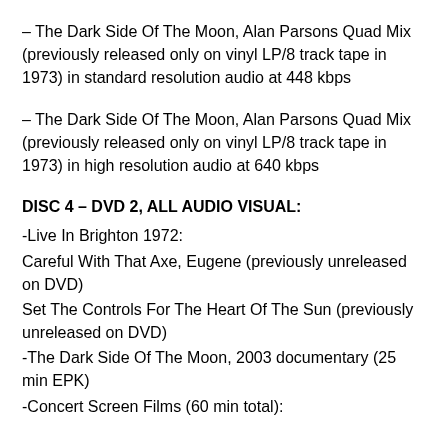– The Dark Side Of The Moon, Alan Parsons Quad Mix (previously released only on vinyl LP/8 track tape in 1973) in standard resolution audio at 448 kbps
– The Dark Side Of The Moon, Alan Parsons Quad Mix (previously released only on vinyl LP/8 track tape in 1973) in high resolution audio at 640 kbps
DISC 4 – DVD 2, ALL AUDIO VISUAL:
-Live In Brighton 1972:
Careful With That Axe, Eugene (previously unreleased on DVD)
Set The Controls For The Heart Of The Sun (previously unreleased on DVD)
-The Dark Side Of The Moon, 2003 documentary (25 min EPK)
-Concert Screen Films (60 min total):